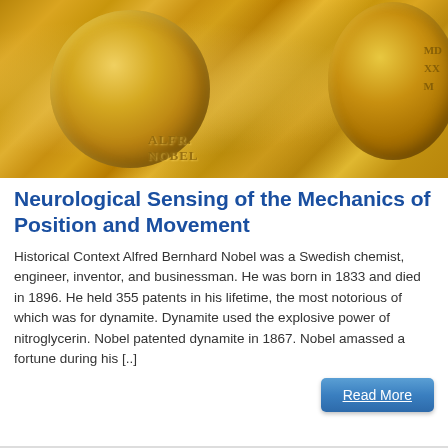[Figure (photo): Close-up photograph of Nobel Prize medals showing gold-colored medallions with Alfred Nobel's profile engraved on them, text 'ALFR. NOBEL' visible, warm golden tones throughout.]
Neurological Sensing of the Mechanics of Position and Movement
Historical Context Alfred Bernhard Nobel was a Swedish chemist, engineer, inventor, and businessman. He was born in 1833 and died in 1896. He held 355 patents in his lifetime, the most notorious of which was for dynamite. Dynamite used the explosive power of nitroglycerin. Nobel patented dynamite in 1867. Nobel amassed a fortune during his [..]
Read More